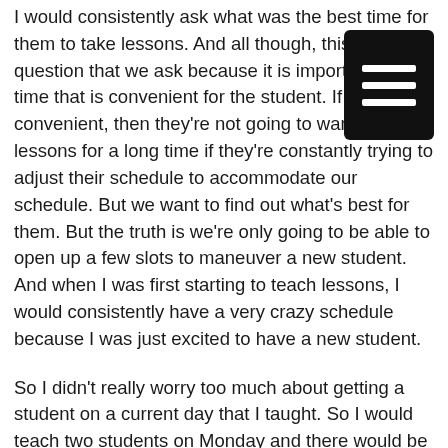I would consistently ask what was the best time for them to take lessons. And all though, this is still a question that we ask because it is important to find time that is convenient for the student. If it's not convenient, then they're not going to want to take lessons for a long time if they're constantly trying to adjust their schedule to accommodate our schedule. But we want to find out what's best for them. But the truth is we're only going to be able to open up a few slots to maneuver a new student. And when I was first starting to teach lessons, I would consistently have a very crazy schedule because I was just excited to have a new student.
So I didn't really worry too much about getting a student on a current day that I taught. So I would teach two students on Monday and there would be a random hour gap in between students and then on Wednesday I might teach for students and there might be 30 minute gaps in between students. And as I